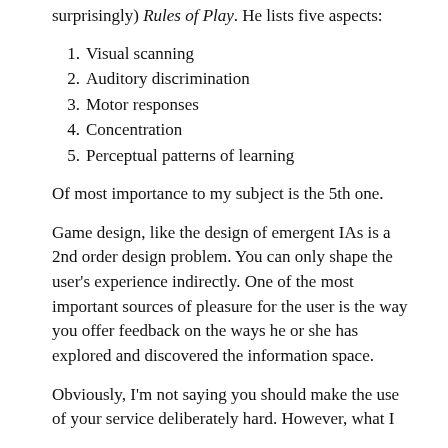surprisingly) Rules of Play. He lists five aspects:
1. Visual scanning
2. Auditory discrimination
3. Motor responses
4. Concentration
5. Perceptual patterns of learning
Of most importance to my subject is the 5th one.
Game design, like the design of emergent IAs is a 2nd order design problem. You can only shape the user's experience indirectly. One of the most important sources of pleasure for the user is the way you offer feedback on the ways he or she has explored and discovered the information space.
Obviously, I'm not saying you should make the use of your service deliberately hard. However, what I